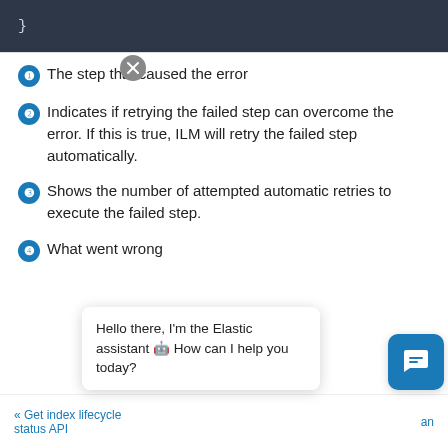[Figure (screenshot): Dark code block showing closing brace '}']
The step that caused the error
Indicates if retrying the failed step can overcome the error. If this is true, ILM will retry the failed step automatically.
Shows the number of attempted automatic retries to execute the failed step.
What went wrong
« Get index lifecycle status API   Hello there, I'm the Elastic assistant 🤖 How can I help you today?